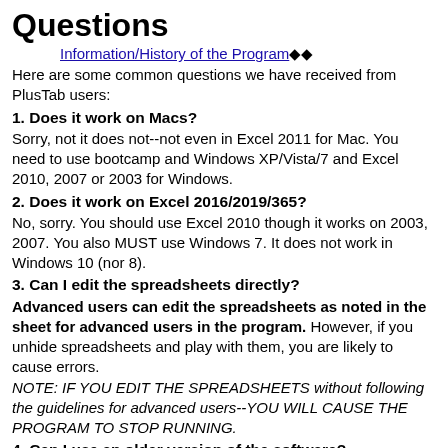Questions
Information/History of the Program◆◆
Here are some common questions we have received from PlusTab users:
1. Does it work on Macs?
Sorry, not it does not--not even in Excel 2011 for Mac. You need to use bootcamp and Windows XP/Vista/7 and Excel 2010, 2007 or 2003 for Windows.
2. Does it work on Excel 2016/2019/365?
No, sorry. You should use Excel 2010 though it works on 2003, 2007. You also MUST use Windows 7. It does not work in Windows 10 (nor 8).
3. Can I edit the spreadsheets directly?
Advanced users can edit the spreadsheets as noted in the sheet for advanced users in the program. However, if you unhide spreadsheets and play with them, you are likely to cause errors. NOTE: IF YOU EDIT THE SPREADSHEETS without following the guidelines for advanced users--YOU WILL CAUSE THE PROGRAM TO STOP RUNNING.
4. Can I use an older version of the software?
NO--YOU SHOULD USE VERSION 2.3 OR HIGHER. It already has the kinks worked out of it; over 190 revisions and improvements have been made to